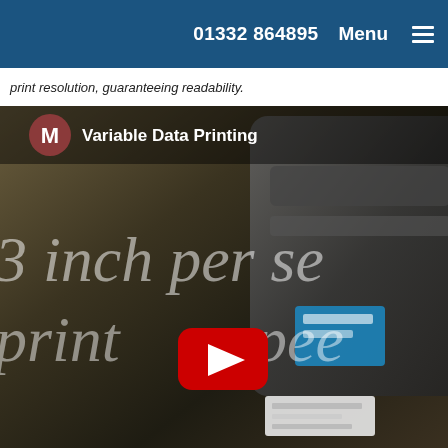01332 864895   Menu
print resolution, guaranteeing readability.
[Figure (screenshot): YouTube video thumbnail for 'Variable Data Printing' showing a label printer with overlay text '3 inch per se... print spee...' and a YouTube play button in the center.]